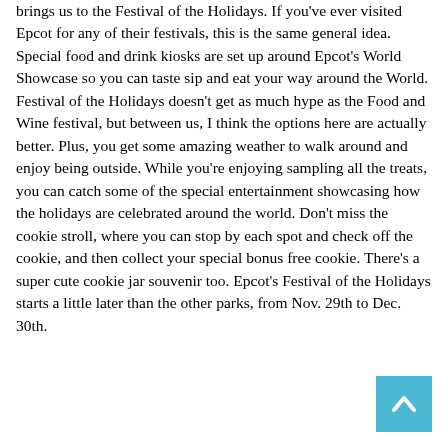brings us to the Festival of the Holidays. If you've ever visited Epcot for any of their festivals, this is the same general idea. Special food and drink kiosks are set up around Epcot's World Showcase so you can taste sip and eat your way around the World. Festival of the Holidays doesn't get as much hype as the Food and Wine festival, but between us, I think the options here are actually better. Plus, you get some amazing weather to walk around and enjoy being outside. While you're enjoying sampling all the treats, you can catch some of the special entertainment showcasing how the holidays are celebrated around the world. Don't miss the cookie stroll, where you can stop by each spot and check off the cookie, and then collect your special bonus free cookie. There's a super cute cookie jar souvenir too. Epcot's Festival of the Holidays starts a little later than the other parks, from Nov. 29th to Dec. 30th.
[Figure (other): Scroll-to-top button: a teal/cyan square with an upward-pointing chevron arrow icon]